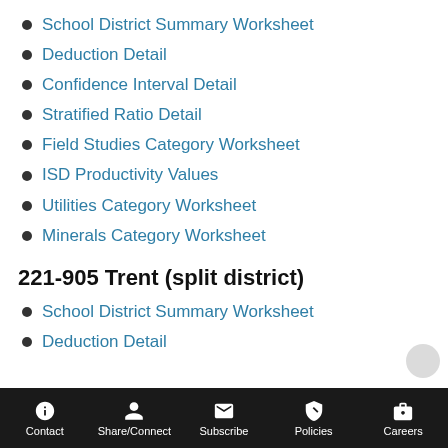School District Summary Worksheet
Deduction Detail
Confidence Interval Detail
Stratified Ratio Detail
Field Studies Category Worksheet
ISD Productivity Values
Utilities Category Worksheet
Minerals Category Worksheet
221-905 Trent (split district)
School District Summary Worksheet
Deduction Detail
Contact | Share/Connect | Subscribe | Policies | Careers